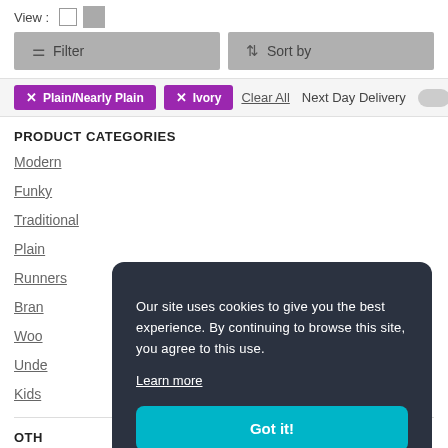[Figure (screenshot): View toggle icons (grid/list) with label 'View :']
[Figure (screenshot): Filter and Sort by buttons (grey background)]
[Figure (screenshot): Active filter tags: 'Plain/Nearly Plain' and 'Ivory' in purple, Clear All link, Next Day Delivery toggle]
PRODUCT CATEGORIES
Modern
Funky
Traditional
Plain
Runners
Bran...
Woo...
Unde...
Kids
OTH...
Help and Advice Centre
Our site uses cookies to give you the best experience. By continuing to browse this site, you agree to this use. Learn more Got it!